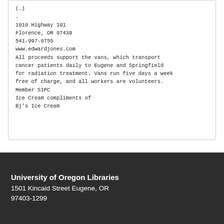(… preceding text …)
.
1010 Highway 101
Florence, OR 97439
541-997-8755
www.edwardjones.com
All proceeds support the vans, which transport cancer patients daily to Eugene and Springfield for radiation treatment. Vans run five days a week free of charge, and all workers are volunteers.
Member SIPC
Ice Cream compliments of
Bj’s Ice Cream
University of Oregon Libraries
1501 Kincaid Street Eugene, OR
97403-1299